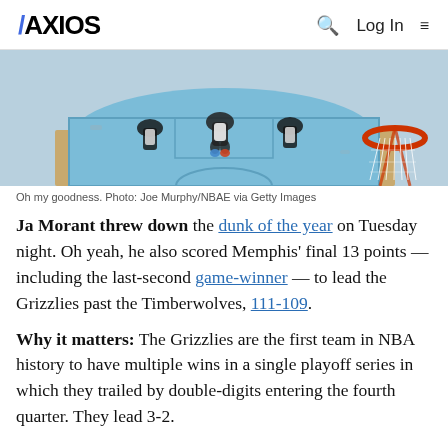AXIOS  🔍 Log In ≡
[Figure (photo): Aerial/overhead view of basketball players near a hoop on a light blue court, with a red basketball rim visible on the right side.]
Oh my goodness. Photo: Joe Murphy/NBAE via Getty Images
Ja Morant threw down the dunk of the year on Tuesday night. Oh yeah, he also scored Memphis' final 13 points — including the last-second game-winner — to lead the Grizzlies past the Timberwolves, 111-109.
Why it matters: The Grizzlies are the first team in NBA history to have multiple wins in a single playoff series in which they trailed by double-digits entering the fourth quarter. They lead 3-2.